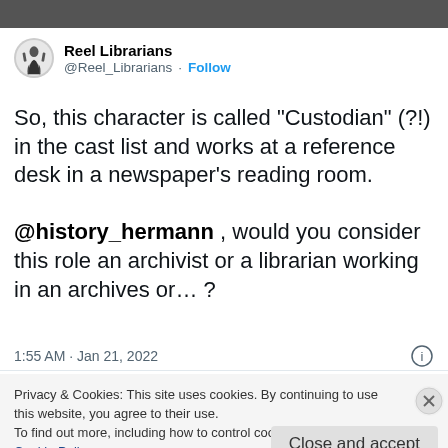[Figure (screenshot): Top portion of a Twitter/X screenshot showing a dark image strip at the top]
Reel Librarians @Reel_Librarians · Follow
So, this character is called "Custodian" (?!) in the cast list and works at a reference desk in a newspaper's reading room.

@history_hermann , would you consider this role an archivist or a librarian working in an archives or… ?
1:55 AM · Jan 21, 2022
Privacy & Cookies: This site uses cookies. By continuing to use this website, you agree to their use.
To find out more, including how to control cookies, see here:
Cookie Policy
Close and accept